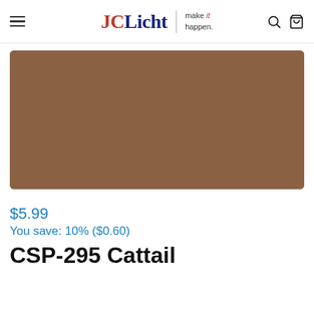JCLicht make it happen.
[Figure (illustration): A large solid-color paint swatch rectangle in a warm brown/caramel tone (CSP-295 Cattail color)]
$5.99
You save: 10% ($0.60)
CSP-295 Cattail